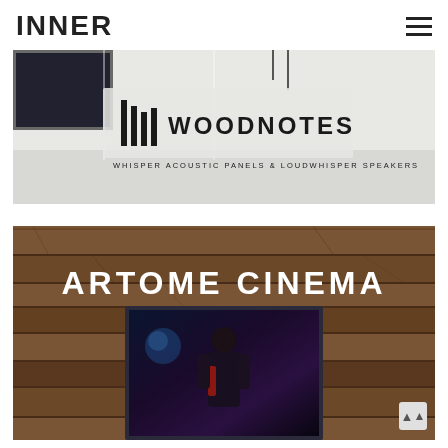INNER
[Figure (photo): Woodnotes brand banner showing white furniture/cabinet in background with Woodnotes logo (vertical bars icon + WOODNOTES text) and subtitle: WHISPER ACOUSTIC PANELS & LOUDWHISPER SPEAKERS]
[Figure (photo): Artome Cinema brand banner showing wooden plank background with ARTOME CINEMA text logo in white and a TV/monitor screen displaying a performer on stage with blue/purple lighting]